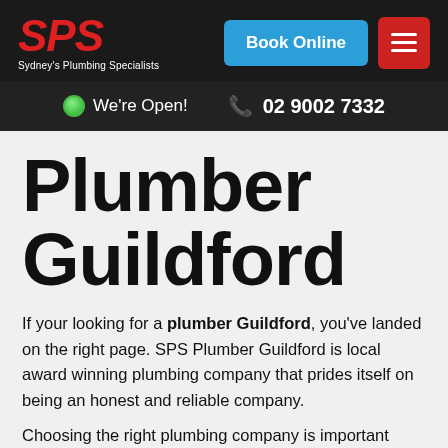SPS Sydney's Plumbing Specialists | Book Online | Menu
We're Open! | 02 9002 7332
Plumber Guildford
If your looking for a plumber Guildford, you've landed on the right page. SPS Plumber Guildford is local award winning plumbing company that prides itself on being an honest and reliable company.
Choosing the right plumbing company is important